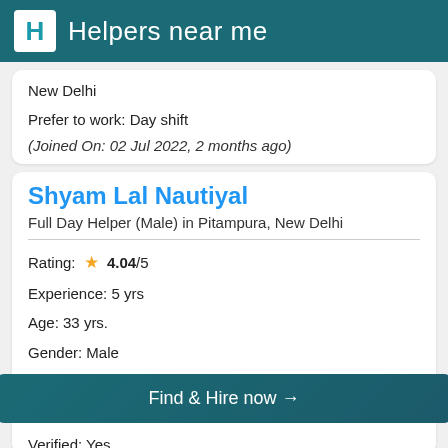Helpers near me
New Delhi
Prefer to work: Day shift
(Joined On: 02 Jul 2022, 2 months ago)
Shyam Lal Nautiyal
Full Day Helper (Male) in Pitampura, New Delhi
Rating: ★ 4.04/5
Experience: 5 yrs
Age: 33 yrs.
Gender: Male
Marital Status: Married
Find & Hire now →
Verified: Yes